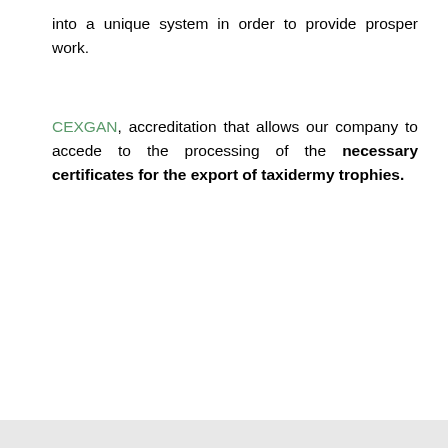into a unique system in order to provide prosper work.
CEXGAN, accreditation that allows our company to accede to the processing of the necessary certificates for the export of taxidermy trophies.